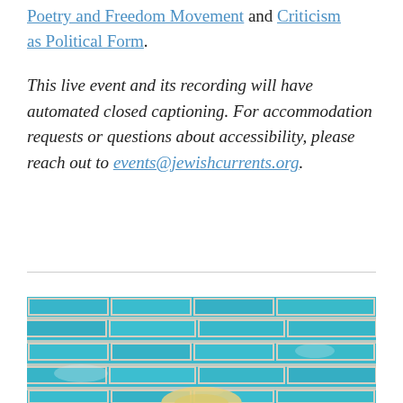Poetry and Freedom Movement and Criticism as Political Form.
This live event and its recording will have automated closed captioning. For accommodation requests or questions about accessibility, please reach out to events@jewishcurrents.org.
[Figure (photo): Photo of a person with blonde hair in front of a bright turquoise/blue painted brick wall]